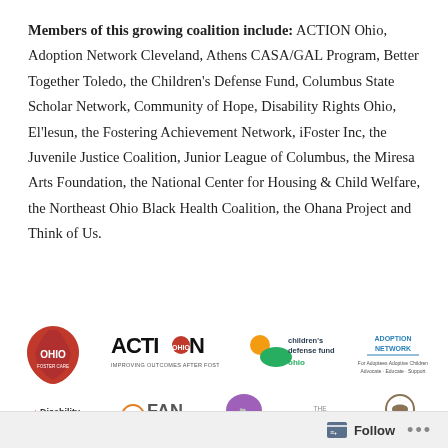Members of this growing coalition include: ACTION Ohio, Adoption Network Cleveland, Athens CASA/GAL Program, Better Together Toledo, the Children's Defense Fund, Columbus State Scholar Network, Community of Hope, Disability Rights Ohio, El'lesun, the Fostering Achievement Network, iFoster Inc, the Juvenile Justice Coalition, Junior League of Columbus, the Miresa Arts Foundation, the National Center for Housing & Child Welfare, the Northeast Ohio Black Health Coalition, the Ohana Project and Think of Us.
[Figure (logo): Row of coalition member logos including Ohio foster care organization, ACTION Ohio, Children's Defense Fund Ohio, Adoption Network, Disability Rights Ohio, Fostering Achievement Network (FAN), El'lesun, The Ohana Project, Northeast Ohio Black Health Coalition]
Follow ...